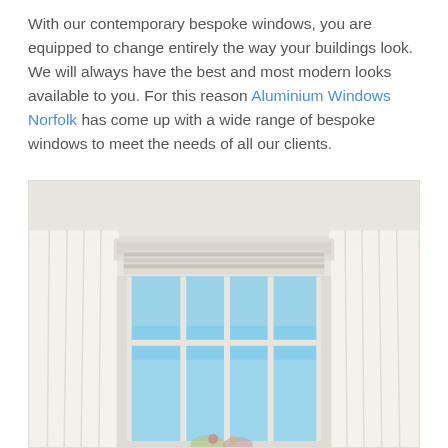With our contemporary bespoke windows, you are equipped to change entirely the way your buildings look. We will always have the best and most modern looks available to you. For this reason Aluminium Windows Norfolk has come up with a wide range of bespoke windows to meet the needs of all our clients.
[Figure (photo): Interior photograph showing a bright room with large white-framed bay/casement windows with multiple panes showing blue sky outside, flanked by sheer white curtains on either side, warm beige/white walls and ceiling.]